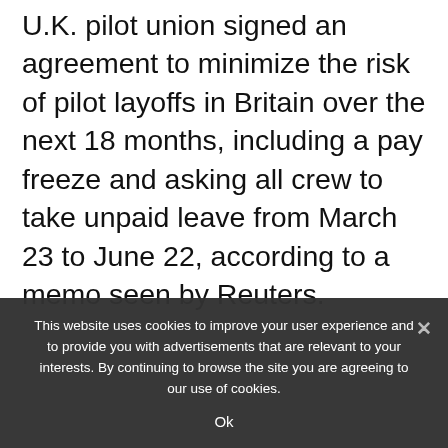U.K. pilot union signed an agreement to minimize the risk of pilot layoffs in Britain over the next 18 months, including a pay freeze and asking all crew to take unpaid leave from March 23 to June 22, according to a memo seen by Reuters.
Source: Read Full Article
Related News:
1. Google threatens to ban search button in...
This website uses cookies to improve your user experience and to provide you with advertisements that are relevant to your interests. By continuing to browse the site you are agreeing to our use of cookies.
Ok